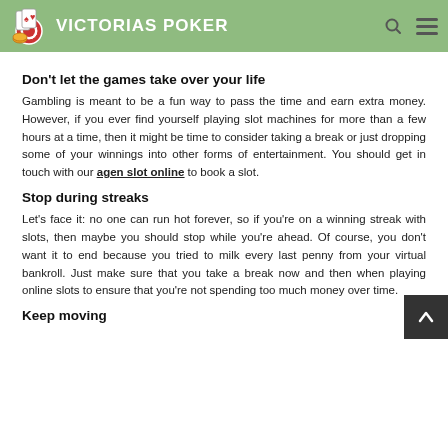VICTORIAS POKER
Don’t let the games take over your life
Gambling is meant to be a fun way to pass the time and earn extra money. However, if you ever find yourself playing slot machines for more than a few hours at a time, then it might be time to consider taking a break or just dropping some of your winnings into other forms of entertainment. You should get in touch with our agen slot online to book a slot.
Stop during streaks
Let’s face it: no one can run hot forever, so if you’re on a winning streak with slots, then maybe you should stop while you’re ahead. Of course, you don’t want it to end because you tried to milk every last penny from your virtual bankroll. Just make sure that you take a break now and then when playing online slots to ensure that you’re not spending too much money over time.
Keep moving